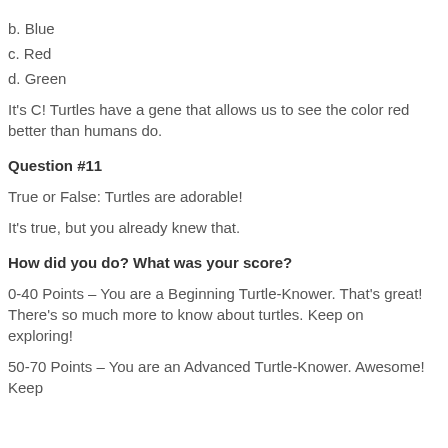b. Blue
c. Red
d. Green
It's C! Turtles have a gene that allows us to see the color red better than humans do.
Question #11
True or False: Turtles are adorable!
It's true, but you already knew that.
How did you do? What was your score?
0-40 Points – You are a Beginning Turtle-Knower. That's great! There's so much more to know about turtles. Keep on exploring!
50-70 Points – You are an Advanced Turtle-Knower. Awesome! Keep